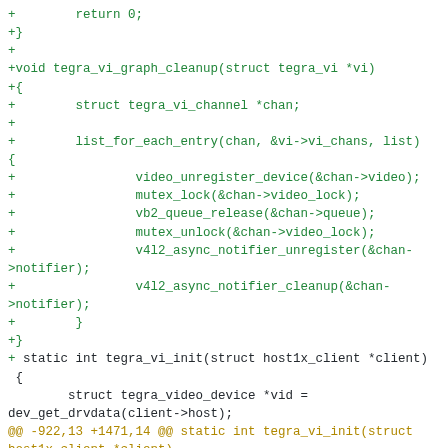Code diff showing tegra_vi_graph_cleanup function and tegra_vi_init function with added lines (green) and context lines (black/orange diff markers)